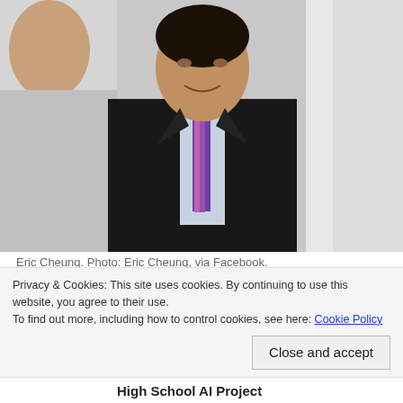[Figure (photo): Photo of Eric Cheung in a dark suit with striped tie, with two other people partially visible on either side]
Eric Cheung. Photo: Eric Cheung, via Facebook.
Cheung said he did not attend a special meeting called by the HKU Council on Thursday, which discussed “necessary actions for risk mitigation” in light of the potentially unlawful act of the
Privacy & Cookies: This site uses cookies. By continuing to use this website, you agree to their use.
To find out more, including how to control cookies, see here: Cookie Policy
Close and accept
High School AI Project